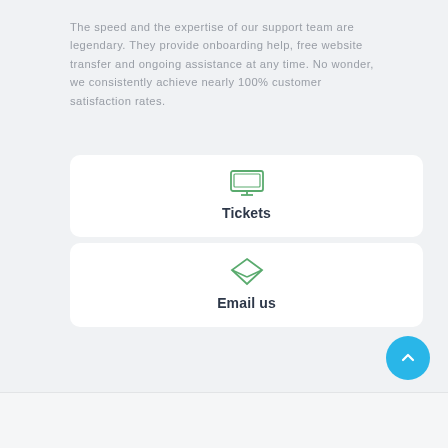The speed and the expertise of our support team are legendary. They provide onboarding help, free website transfer and ongoing assistance at any time. No wonder, we consistently achieve nearly 100% customer satisfaction rates.
[Figure (illustration): Monitor/screen icon in green outline style representing Tickets support option]
Tickets
[Figure (illustration): Envelope/email icon in green outline style representing Email us support option]
Email us